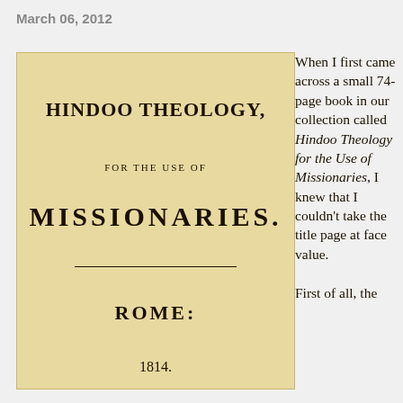March 06, 2012
[Figure (photo): Scanned title page of an old book: 'HINDOO THEOLOGY, FOR THE USE OF MISSIONARIES.' Published in ROME, 1814. Printed on yellowed paper with serif typeface.]
When I first came across a small 74-page book in our collection called Hindoo Theology for the Use of Missionaries, I knew that I couldn't take the title page at face value.

First of all, the